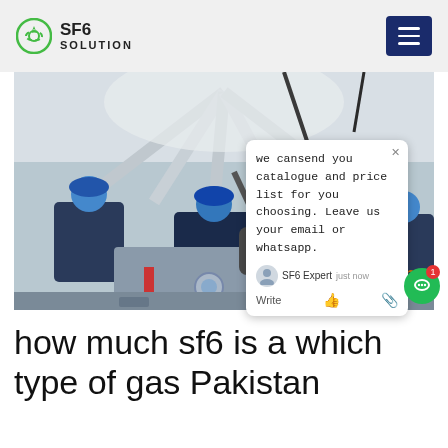SF6 SOLUTION
[Figure (photo): Workers in blue hard hats working on large SF6 gas electrical equipment in an industrial facility, viewed from below. Equipment appears to be high-voltage switchgear or transformer. SF6China watermark visible in lower right.]
we cansend you catalogue and price list for you choosing. Leave us your email or whatsapp.
how much sf6 is a which type of gas Pakistan